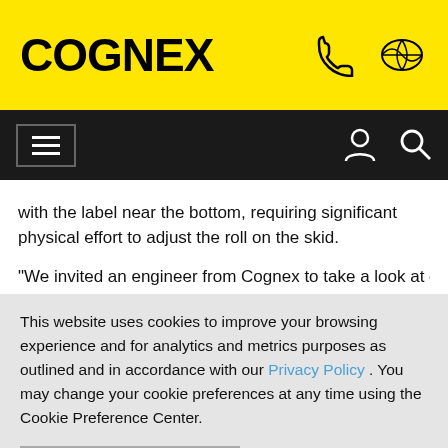COGNEX
with the label near the bottom, requiring significant physical effort to adjust the roll on the skid.
"We invited an engineer from Cognex to take a look at our
This website uses cookies to improve your browsing experience and for analytics and metrics purposes as outlined and in accordance with our Privacy Policy . You may change your cookie preferences at any time using the Cookie Preference Center.
Accept All Cookies
Cookie Preference Center